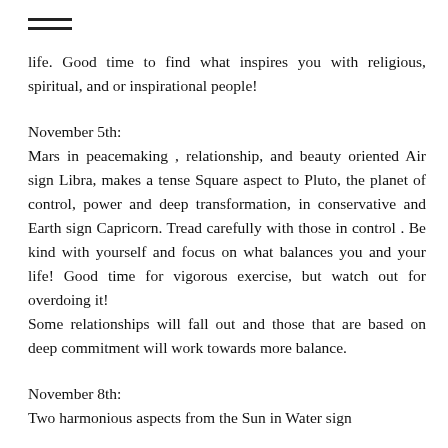life. Good time to find what inspires you with religious, spiritual, and or inspirational people!
November 5th:
Mars in peacemaking , relationship, and beauty oriented Air sign Libra, makes a tense Square aspect to Pluto, the planet of control, power and deep transformation, in conservative and Earth sign Capricorn. Tread carefully with those in control . Be kind with yourself and focus on what balances you and your life! Good time for vigorous exercise, but watch out for overdoing it!
Some relationships will fall out and those that are based on deep commitment will work towards more balance.
November 8th:
Two harmonious aspects from the Sun in Water sign